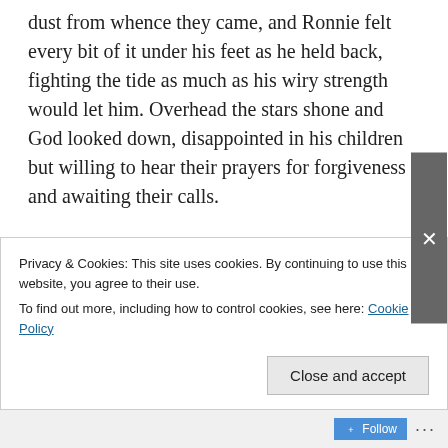dust from whence they came, and Ronnie felt every bit of it under his feet as he held back, fighting the tide as much as his wiry strength would let him. Overhead the stars shone and God looked down, disappointed in his children but willing to hear their prayers for forgiveness and awaiting their calls.

At the tent-flaps he finally managed to step off to the side to get a moment to himself. As the herd moved forward, accepting pamphlets and shaking the hands of middle-aged devotees
Privacy & Cookies: This site uses cookies. By continuing to use this website, you agree to their use.
To find out more, including how to control cookies, see here: Cookie Policy
Follow